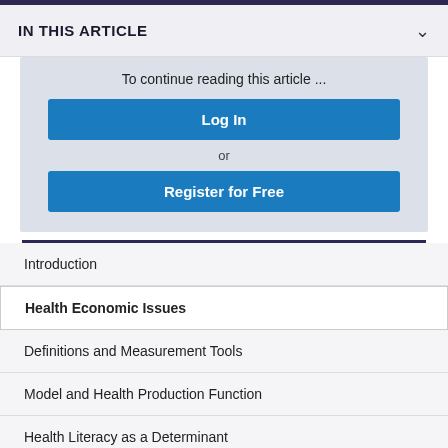IN THIS ARTICLE
To continue reading this article ...
Log In
or
Register for Free
Introduction
Health Economic Issues
Definitions and Measurement Tools
Model and Health Production Function
Health Literacy as a Determinant